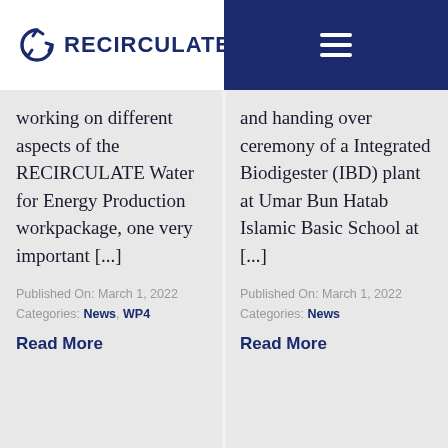RECIRCULATE
working on different aspects of the RECIRCULATE Water for Energy Production workpackage, one very important [...]
Published On: March 1, 2022
Categories: News, WP4
Read More
and handing over ceremony of a Integrated Biodigester (IBD) plant at Umar Bun Hatab Islamic Basic School at [...]
Published On: March 1, 2022
Categories: News
Read More